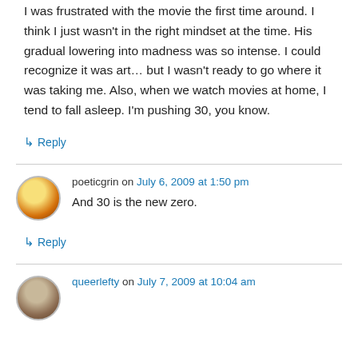I was frustrated with the movie the first time around. I think I just wasn't in the right mindset at the time. His gradual lowering into madness was so intense. I could recognize it was art… but I wasn't ready to go where it was taking me. Also, when we watch movies at home, I tend to fall asleep. I'm pushing 30, you know.
↳ Reply
poeticgrin on July 6, 2009 at 1:50 pm
And 30 is the new zero.
↳ Reply
queerlefty on July 7, 2009 at 10:04 am